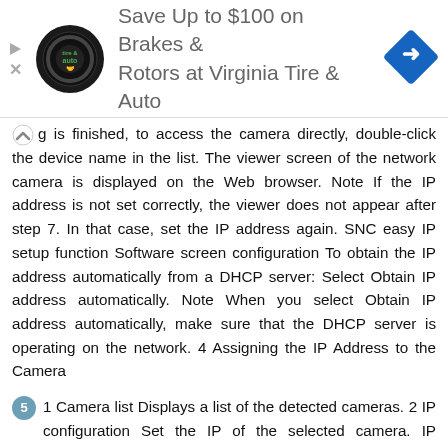[Figure (other): Advertisement banner for Virginia Tire & Auto - Save Up to $100 on Brakes & Rotors]
g is finished, to access the camera directly, double-click the device name in the list. The viewer screen of the network camera is displayed on the Web browser. Note If the IP address is not set correctly, the viewer does not appear after step 7. In that case, set the IP address again. SNC easy IP setup function Software screen configuration To obtain the IP address automatically from a DHCP server: Select Obtain IP address automatically. Note When you select Obtain IP address automatically, make sure that the DHCP server is operating on the network. 4 Assigning the IP Address to the Camera
5 1 Camera list Displays a list of the detected cameras. 2 IP configuration Set the IP of the selected camera. IP address of NIC Displays the IP address of the NIC (Network Interface Card) detected. 2 IP configuration 3 DNS configuration Set the DNS of the selected camera. 4 Port configuration Set the port of the selected camera. 5